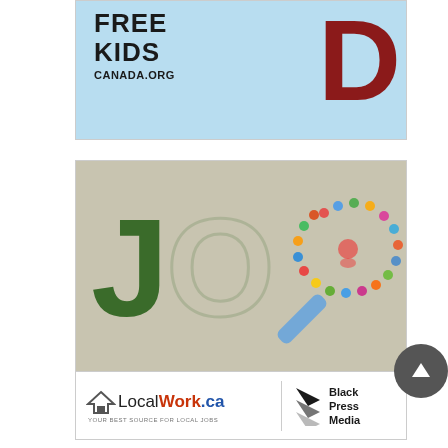[Figure (logo): FreeKidsCanada.org advertisement banner — light blue background with 'FREE KIDS' in bold dark text, 'CANADA.ORG' below, and a large dark red letter D on the right]
[Figure (logo): LocalWork.ca / Black Press Media advertisement — tan/grey background with JO letters and magnifying glass icon made of social media icons in the upper portion; white strip at bottom showing LocalWork.ca logo with tagline 'YOUR BEST SOURCE FOR LOCAL JOBS' and Black Press Media logo]